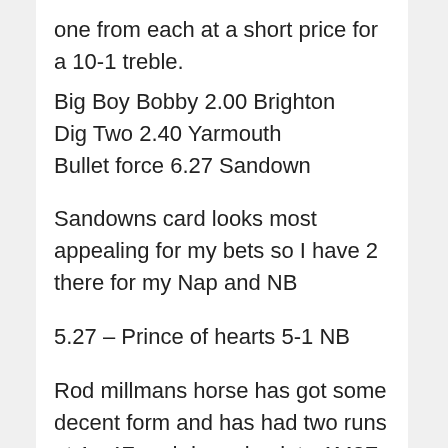one from each at a short price for a 10-1 treble.
Big Boy Bobby 2.00 Brighton
Dig Two 2.40 Yarmouth
Bullet force 6.27 Sandown
Sandowns card looks most appealing for my bets so I have 2 there for my Nap and NB
5.27 – Prince of hearts 5-1 NB
Rod millmans horse has got some decent form and has had two runs at 1m4F and drops back to 1M2F. This trip could be ideal. Ground is ok. Lightly raced 5 yo but up against two potentially progressive 3yo.